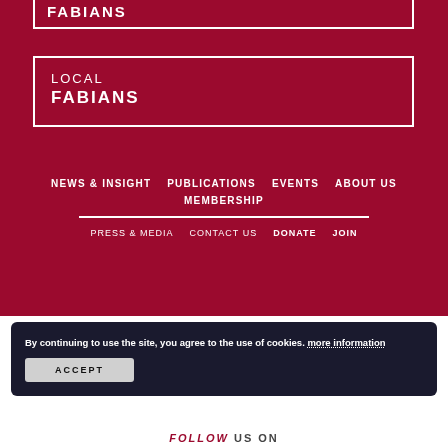FABIANS
LOCAL
FABIANS
NEWS & INSIGHT   PUBLICATIONS   EVENTS   ABOUT US   MEMBERSHIP
PRESS & MEDIA   CONTACT US   DONATE   JOIN
By continuing to use the site, you agree to the use of cookies. more information
ACCEPT
Copyright © 2022 Fabian Society. Charity web design by Fat Beehive
Privacy policy   Accessibility   Sitemap
FOLLOW US ON